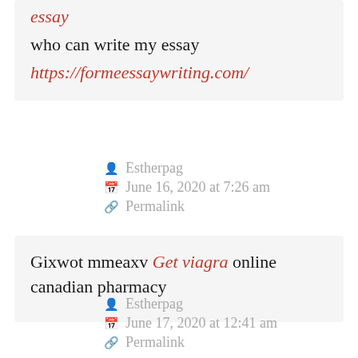essay
who can write my essay
https://formeessaywriting.com/
Estherpag
June 16, 2020 at 7:26 am
Permalink
Gixwot mmeaxv Get viagra online canadian pharmacy
Estherpag
June 17, 2020 at 12:41 am
Permalink